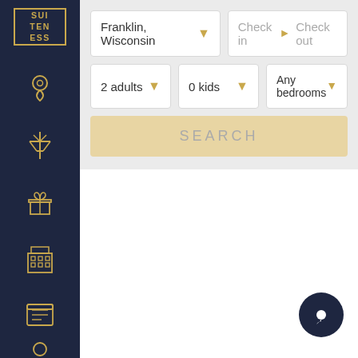[Figure (screenshot): Dark navy sidebar with gold logo box reading SUITENESS and gold navigation icons: location pin, control tower, gift box, building/hotel grid, list/document, and user profile icon at bottom.]
[Figure (screenshot): Search interface with location dropdown 'Franklin, Wisconsin', check-in/check-out date fields, 2 adults dropdown, 0 kids dropdown, Any bedrooms dropdown, and a tan/gold SEARCH button. Below is a white empty results area. Bottom right has a dark circular chat button.]